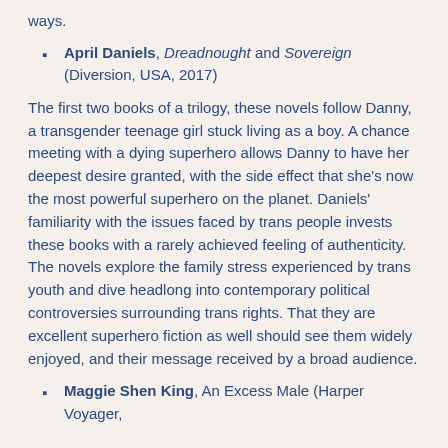ways.
April Daniels, Dreadnought and Sovereign (Diversion, USA, 2017)
The first two books of a trilogy, these novels follow Danny, a transgender teenage girl stuck living as a boy. A chance meeting with a dying superhero allows Danny to have her deepest desire granted, with the side effect that she's now the most powerful superhero on the planet. Daniels' familiarity with the issues faced by trans people invests these books with a rarely achieved feeling of authenticity. The novels explore the family stress experienced by trans youth and dive headlong into contemporary political controversies surrounding trans rights. That they are excellent superhero fiction as well should see them widely enjoyed, and their message received by a broad audience.
Maggie Shen King, An Excess Male (Harper Voyager,